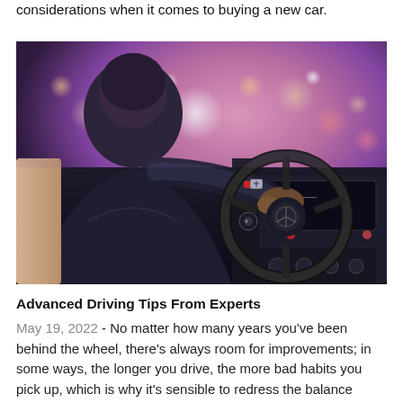considerations when it comes to buying a new car.
[Figure (photo): Person driving a car, viewed from behind, hands on steering wheel, with blurred city lights visible through the windshield at dusk. The car interior shows dashboard controls on the right side.]
Advanced Driving Tips From Experts
May 19, 2022 - No matter how many years you've been behind the wheel, there's always room for improvements; in some ways, the longer you drive, the more bad habits you pick up, which is why it's sensible to redress the balance every now and then with advanced drivi